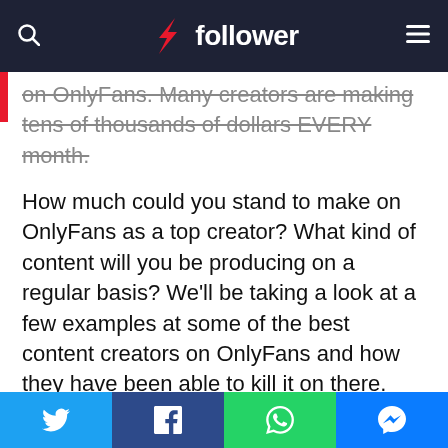follower
on OnlyFans. Many creators are making tens of thousands of dollars EVERY month.
How much could you stand to make on OnlyFans as a top creator? What kind of content will you be producing on a regular basis? We’ll be taking a look at a few examples at some of the best content creators on OnlyFans and how they have been able to kill it on there.
You’d be surprised (even shocked) by what they can do even for a price. If you are